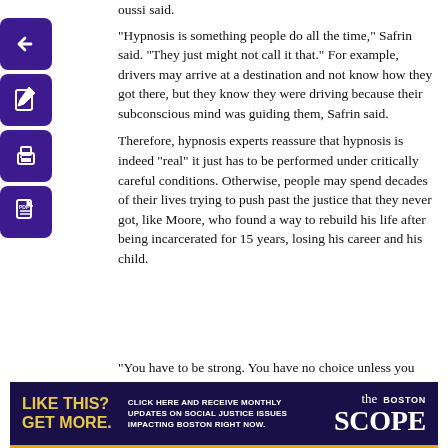oussi said. "Hypnosis is something people do all the time," Safrin said. "They just might not call it that." For example, drivers may arrive at a destination and not know how they got there, but they know they were driving because their subconscious mind was guiding them, Safrin said. Therefore, hypnosis experts reassure that hypnosis is indeed "real" it just has to be performed under critically careful conditions. Otherwise, people may spend decades of their lives trying to push past the justice that they never got, like Moore, who found a way to rebuild his life after being incarcerated for 15 years, losing his career and his child.
"You have to be strong. You have no choice unless you [want to] just throw your hands up and give up on life," Moore said. "I'm not going to do that."
[Figure (other): Sidebar with four purple navigation icon buttons: back arrow, edit/pencil, print, and PDF document icons.]
[Figure (other): Advertisement banner for 'The Scope Boston' with dark purple background, gold bottom border, text 'LIKE THIS? GET MORE.' in yellow, center copy 'CLICK HERE AND RECEIVE MONTHLY UPDATES ON SOCIAL JUSTICE ISSUES IMPACTING BOSTON RIGHT NOW.', and 'the SCOPE BOSTON' logo in white on the right.]